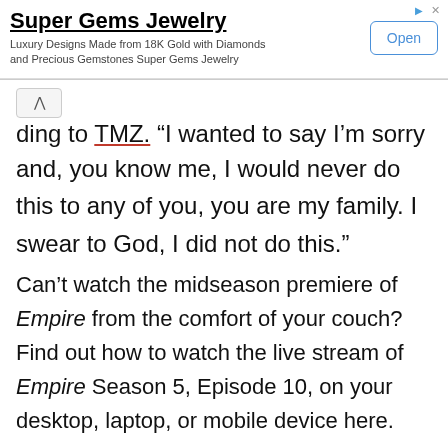[Figure (screenshot): Advertisement banner for Super Gems Jewelry with Open button, ad icons (triangle and X) in top right.]
ding to TMZ. “I wanted to say I’m sorry and, you know me, I would never do this to any of you, you are my family. I swear to God, I did not do this.” Can’t watch the midseason premiere of Empire from the comfort of your couch? Find out how to watch the live stream of Empire Season 5, Episode 10, on your desktop, laptop, or mobile device here.